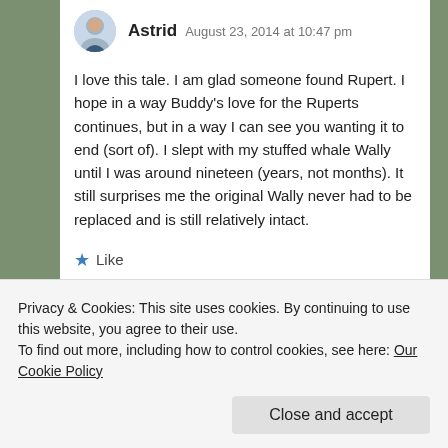[Figure (photo): Circular avatar photo of a person (Astrid), smiling, in a round crop]
Astrid  August 23, 2014 at 10:47 pm
I love this tale. I am glad someone found Rupert. I hope in a way Buddy's love for the Ruperts continues, but in a way I can see you wanting it to end (sort of). I slept with my stuffed whale Wally until I was around nineteen (years, not months). It still surprises me the original Wally never had to be replaced and is still relatively intact.
★ Like
Reply
Privacy & Cookies: This site uses cookies. By continuing to use this website, you agree to their use.
To find out more, including how to control cookies, see here: Our Cookie Policy
Close and accept